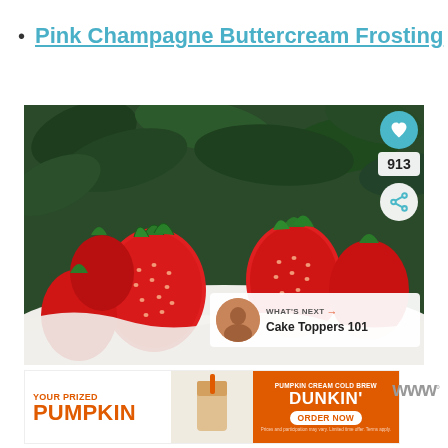Pink Champagne Buttercream Frosting
[Figure (photo): Close-up photo of fresh red strawberries resting on white frosting/cream with green leaves in the background. Overlay elements include a teal heart button with 913 count, a share button, a 'WHAT'S NEXT' panel showing 'Cake Toppers 101'.]
[Figure (photo): Advertisement banner: 'YOUR PRIZED PUMPKIN' with Dunkin' Pumpkin Cream Cold Brew ad showing 'ORDER NOW' button.]